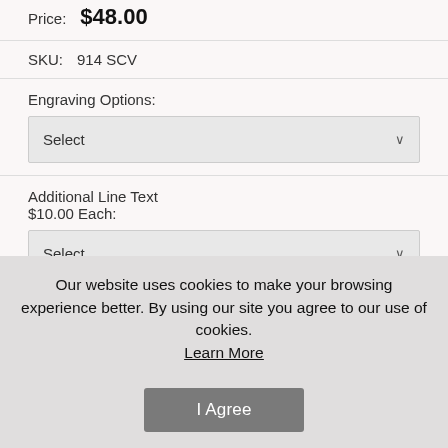Price: $48.00
SKU: 914 SCV
Engraving Options:
Select
Additional Line Text $10.00 Each:
Select
Backfill Lettering Option:
Select
Our website uses cookies to make your browsing experience better. By using our site you agree to our use of cookies. Learn More
I Agree